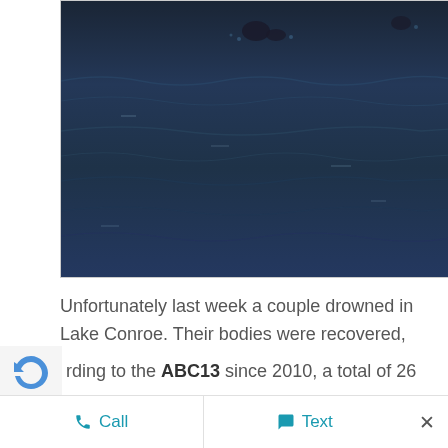[Figure (photo): Aerial or close-up view of dark blue water surface with ripples and waves; silhouette of a person swimming visible near the top center]
Unfortunately last week a couple drowned in Lake Conroe. Their bodies were recovered, but their drownings highlight the need for lake safety by boaters, swimmers, and other lake goers. Lakes are to be enjoyed; however, we also need to respect them.
rding to the ABC13 since 2010, a total of 26
Call   Text   ×